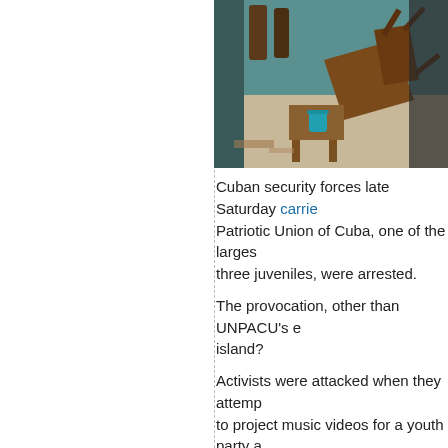[Figure (photo): Interior room with overturned wooden chairs and furniture scattered on the floor, with a teal/blue wall visible in the background and a teal cup on a small table.]
Cuban security forces late Saturday carrie... Patriotic Union of Cuba, one of the larges... three juveniles, were arrested.
The provocation, other than UNPACU's e... island?
Activists were attacked when they attemp... to project music videos for a youth party a...
Security forces said they considered that...
During the raid, a dozen activists, includin... conscience Jose Daniel Ferrer Garcia, we... three had been released and the whereab... uncertain.
Security forces, some in their black berets... and generally trashed the place, with no m... seized computers, cameras and cell phor...
UNPACU released the following video aft...